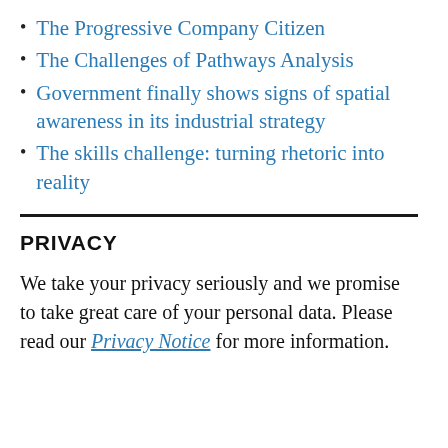The Progressive Company Citizen
The Challenges of Pathways Analysis
Government finally shows signs of spatial awareness in its industrial strategy
The skills challenge: turning rhetoric into reality
PRIVACY
We take your privacy seriously and we promise to take great care of your personal data. Please read our Privacy Notice for more information.